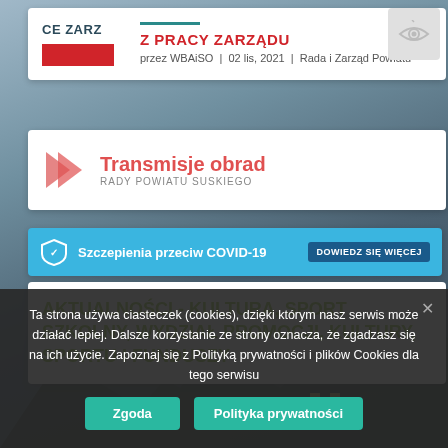Z PRACY ZARZĄDU
przez WBAiSO | 02 lis, 2021 | Rada i Zarząd Powiatu
[Figure (illustration): Eye icon in gray square]
[Figure (infographic): Transmisje obrad RADY POWIATU SUSKIEGO banner with red chevron arrow]
Transmisje obrad
RADY POWIATU SUSKIEGO
[Figure (infographic): Szczepienia przeciw COVID-19 blue banner with shield icon and DOWIEDZ SIĘ WIĘCEJ button]
Szczepienia przeciw COVID-19
AKTUALNOŚCI - KULTURA, SPORT SZKOLNY, WYDZIAŁ PROMOCJI, KULTURY, SPORTU I FUNDUSZY
Ta strona używa ciasteczek (cookies), dzięki którym nasz serwis może działać lepiej. Dalsze korzystanie ze strony oznacza, że zgadzasz się na ich użycie. Zapoznaj się z Polityką prywatności i plików Cookies dla tego serwisu
Zgoda
Polityka prywatności